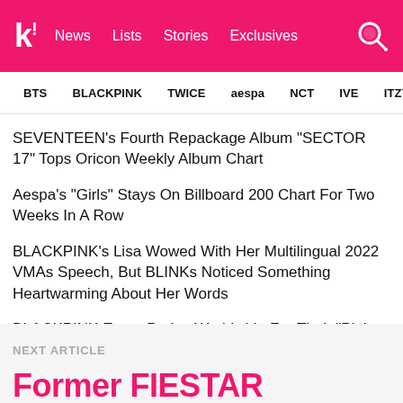k! News Lists Stories Exclusives
BTS BLACKPINK TWICE aespa NCT IVE ITZY
SEVENTEEN's Fourth Repackage Album “SECTOR 17” Tops Oricon Weekly Album Chart
Aespa’s “Girls” Stays On Billboard 200 Chart For Two Weeks In A Row
BLACKPINK’s Lisa Wowed With Her Multilingual 2022 VMAs Speech, But BLINKs Noticed Something Heartwarming About Her Words
BLACKPINK Earns Praise Worldwide For Their "Pink Venom" Live Vocals In The 2022 VMAs, And We Totally Understand Why
NEXT ARTICLE
Former FIESTAR Member ti...